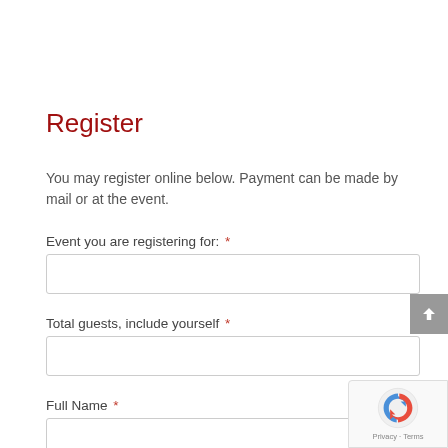Register
You may register online below. Payment can be made by mail or at the event.
Event you are registering for: *
Total guests, include yourself *
Full Name *